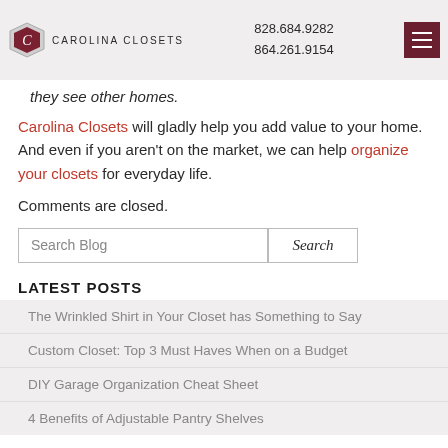Carolina Closets | 828.684.9282 | 864.261.9154
they see other homes.
Carolina Closets will gladly help you add value to your home. And even if you aren't on the market, we can help organize your closets for everyday life.
Comments are closed.
Search Blog [Search button]
LATEST POSTS
The Wrinkled Shirt in Your Closet has Something to Say
Custom Closet: Top 3 Must Haves When on a Budget
DIY Garage Organization Cheat Sheet
4 Benefits of Adjustable Pantry Shelves